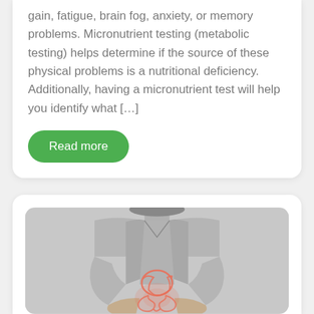gain, fatigue, brain fog, anxiety, or memory problems. Micronutrient testing (metabolic testing) helps determine if the source of these physical problems is a nutritional deficiency. Additionally, having a micronutrient test will help you identify what […]
Read more
[Figure (photo): Black and white photo of a woman holding her stomach area, with a colorized illustration of the digestive system overlaid on her abdomen.]